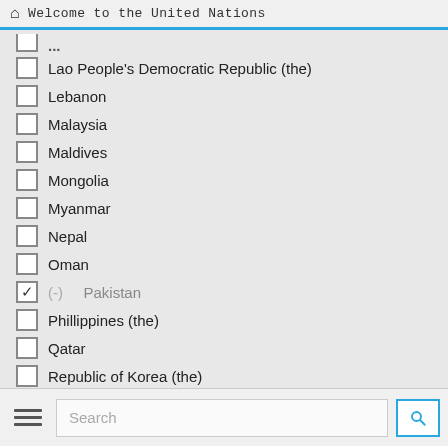Welcome to the United Nations
Lao People's Democratic Republic (the)
Lebanon
Malaysia
Maldives
Mongolia
Myanmar
Nepal
Oman
(-) Pakistan [checked]
Phillippines (the)
Qatar
Republic of Korea (the)
Saudi Arabia
Singapore
Sri Lanka
State of Palestine